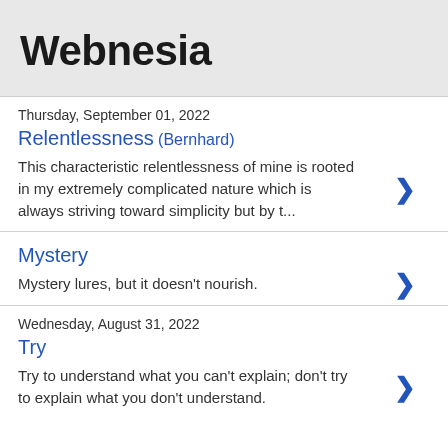Webnesia
Thursday, September 01, 2022
Relentlessness (Bernhard)
This characteristic relentlessness of mine is rooted in my extremely complicated nature which is always striving toward simplicity but by t...
Mystery
Mystery lures, but it doesn't nourish.
Wednesday, August 31, 2022
Try
Try to understand what you can't explain; don't try to explain what you don't understand.